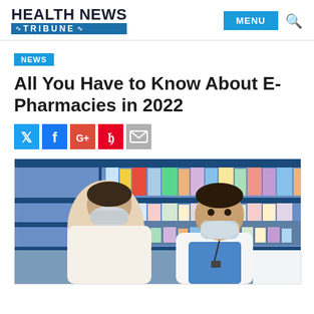HEALTH NEWS TRIBUNE
NEWS
All You Have to Know About E-Pharmacies in 2022
[Figure (photo): Two masked men in a pharmacy — a pharmacist in a white coat speaks with a customer, shelves stocked with medicine boxes and bottles in the background]
E-Pharmacies in 2022 article photo